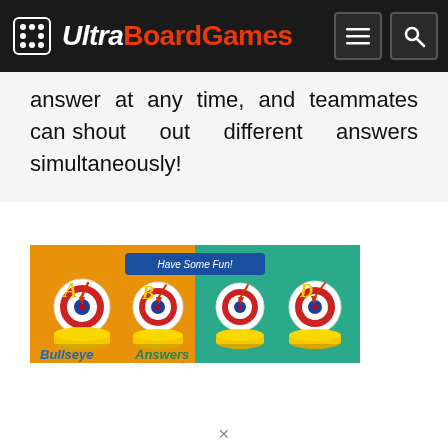UltraBoardGames
answer at any time, and teammates can shout out different answers simultaneously!
[Figure (illustration): Bullseye Answers board game box art showing four target discs with darts labeled A, B, C, D on an orange and green background with the text 'Have Some Fun!' on a blue banner and 'Bullseye Answers' written in blue text at the bottom.]